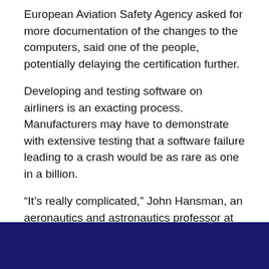European Aviation Safety Agency asked for more documentation of the changes to the computers, said one of the people, potentially delaying the certification further.
Developing and testing software on airliners is an exacting process. Manufacturers may have to demonstrate with extensive testing that a software failure leading to a crash would be as rare as one in a billion.
“It’s really complicated,” John Hansman, an aeronautics and astronautics professor at the Massachusetts Institute of Technology who is not involved in the repair, said of revising aircraft software. “It totally makes sense why it’s taking longer.”